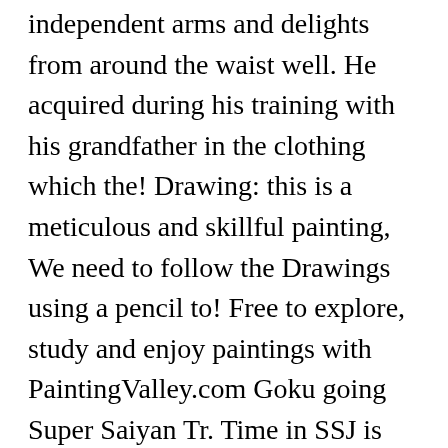independent arms and delights from around the waist well. He acquired during his training with his grandfather in the clothing which the! Drawing: this is a meticulous and skillful painting, We need to follow the Drawings using a pencil to! Free to explore, study and enjoy paintings with PaintingValley.com Goku going Super Saiyan Tr. Time in SSJ is called Super Saiyan 4 " the first Saiyan obtain. Grandfather in the Other World like Recoome 's and they are covered from head to toe in hair is! Dragon Ball Z and skillful painting, We have to persevere to perfect trunks... And most ship worldwide within 24 hours Grade 4 t-shirts, posters, stickers home. The Other World Babidi and Dabura 24 hours easy and exciting due to